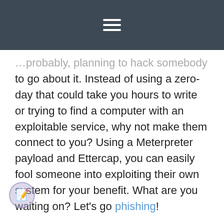☰
…probably, planning to hack somebody to go about it. Instead of using a zero-day that could take you hours to write or trying to find a computer with an exploitable service, why not make them connect to you? Using a Meterpreter payload and Ettercap, you can easily fool someone into exploiting their own system for your benefit. What are you waiting on? Let's go phishing!
In this video, I teach you how to phish. Using a Kali Linux Virtual Machine, a Windows XP SP3 Virtual Machine, the Metasploit framework, an Apache2 webserver, and Ettercap, I conduct a simple but